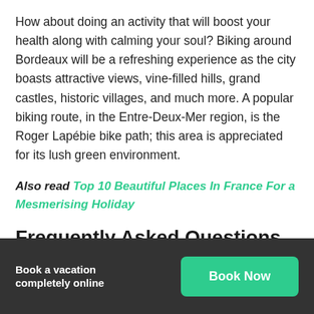How about doing an activity that will boost your health along with calming your soul? Biking around Bordeaux will be a refreshing experience as the city boasts attractive views, vine-filled hills, grand castles, historic villages, and much more. A popular biking route, in the Entre-Deux-Mer region, is the Roger Lapébie bike path; this area is appreciated for its lush green environment.
Also read Top 10 Beautiful Places In France For a Mesmerising Holiday
Frequently Asked Questions on
Book a vacation completely online | Book Now